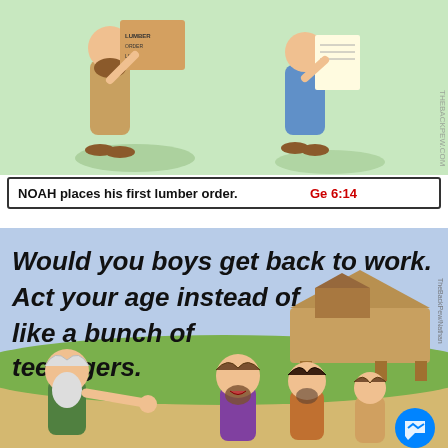[Figure (illustration): Top comic panel: Noah cartoon placing a lumber order. Two biblical figures, one holding a sign/tablet with text, the other holding papers. Caption reads 'NOAH places his first lumber order. Ge 6:14'. Watermark 'THEBACKPEW.COM' visible on right side.]
[Figure (illustration): Bottom comic panel: Noah's ark under construction in background. Text reads 'Would you boys get back to work. Act your age instead of like a bunch of teenagers.' An elderly bearded man (Noah) pointing at two younger men who look annoyed. Messenger app icon visible bottom right. Watermark 'TheBackPew/Nathan' on right side.]